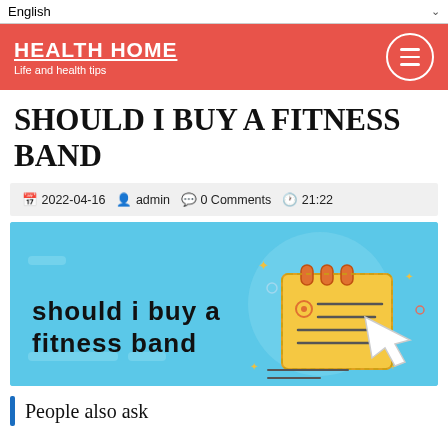English
HEALTH HOME — Life and health tips
SHOULD I BUY A FITNESS BAND
2022-04-16  admin  0 Comments  21:22
[Figure (illustration): Blue banner illustration with bold text 'should i buy a fitness band' on the left and a cartoon notepad/clipboard with a cursor arrow on the right, decorative dots and shapes in background]
People also ask